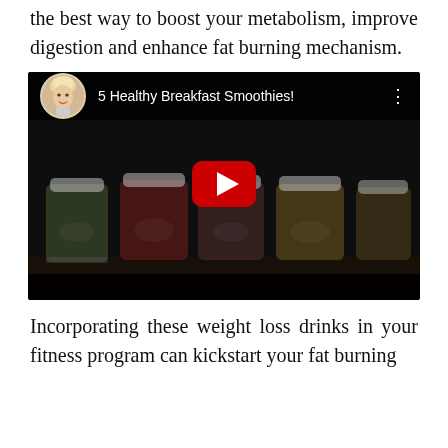the best way to boost your metabolism, improve digestion and enhance fat burning mechanism.
[Figure (screenshot): YouTube video thumbnail showing '5 Healthy Breakfast Smoothies!' with a woman avatar icon on a dark background, mason jars with colorful smoothies visible, and a red YouTube play button in the center.]
Incorporating these weight loss drinks in your fitness program can kickstart your fat burning